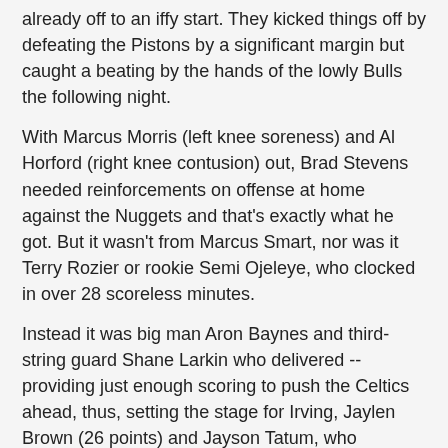already off to an iffy start. They kicked things off by defeating the Pistons by a significant margin but caught a beating by the hands of the lowly Bulls the following night.
With Marcus Morris (left knee soreness) and Al Horford (right knee contusion) out, Brad Stevens needed reinforcements on offense at home against the Nuggets and that's exactly what he got. But it wasn't from Marcus Smart, nor was it Terry Rozier or rookie Semi Ojeleye, who clocked in over 28 scoreless minutes.
Instead it was big man Aron Baynes and third-string guard Shane Larkin who delivered -- providing just enough scoring to push the Celtics ahead, thus, setting the stage for Irving, Jaylen Brown (26 points) and Jayson Tatum, who bounced back from his four-point dud in Chicago. Baynes and Larkin combined for 31 points on an impressive 14-of-17 efficiency.
Boston cruised to another victory at home where they're now 13-2, by beating the Nuggets, 124-118. Gary Harris put on a show from start to finish -- he had a game-high 36 points and Jamal Murray's 28 points and 10 rebounds went a long way